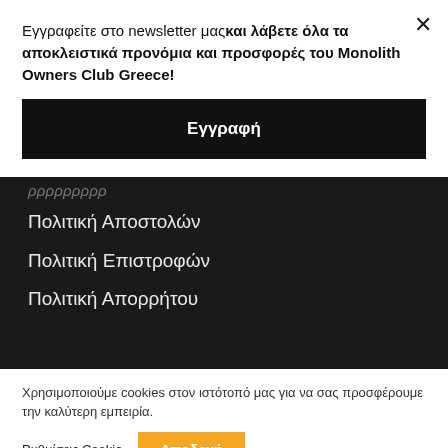Εγγραφείτε στο newsletter μας και λάβετε όλα τα αποκλειστικά προνόμια και προσφορές του Monolith Owners Club Greece!
Εγγραφή
Πολιτική Αποστολών
Πολιτική Επιστροφών
Πολιτική Απορρήτου
Χρησιμοποιούμε cookies στον ιστότοπό μας για να σας προσφέρουμε την καλύτερη εμπειρία.
Ρυθμίσεις Cookie
Αποδοχή